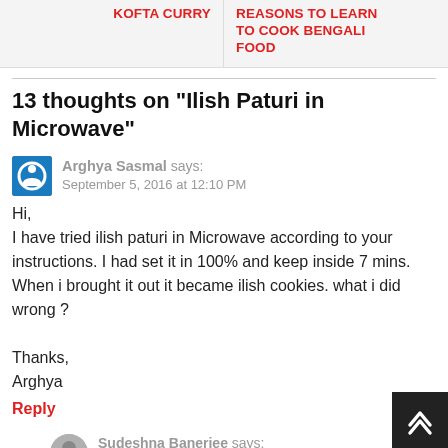KOFTA CURRY | REASONS TO LEARN TO COOK BENGALI FOOD
13 thoughts on “Ilish Paturi in Microwave”
Arghya Sasmal says: September 5, 2016 at 12:10 PM
Hi,
I have tried ilish paturi in Microwave according to your instructions. I had set it in 100% and keep inside 7 mins. When i brought it out it became ilish cookies. what i did wrong ?

Thanks,
Arghya
Reply
Sudeshna Banerjee says: September 6, 2016 at 10:54 AM